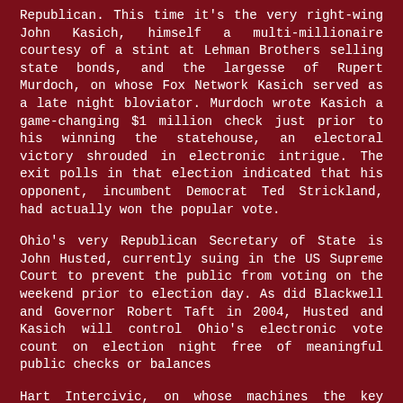Republican. This time it's the very right-wing John Kasich, himself a multi-millionaire courtesy of a stint at Lehman Brothers selling state bonds, and the largesse of Rupert Murdoch, on whose Fox Network Kasich served as a late night bloviator. Murdoch wrote Kasich a game-changing $1 million check just prior to his winning the statehouse, an electoral victory shrouded in electronic intrigue. The exit polls in that election indicated that his opponent, incumbent Democrat Ted Strickland, had actually won the popular vote.
Ohio's very Republican Secretary of State is John Husted, currently suing in the US Supreme Court to prevent the public from voting on the weekend prior to election day. As did Blackwell and Governor Robert Taft in 2004, Husted and Kasich will control Ohio's electronic vote count on election night free of meaningful public checks or balances
Hart Intercivic, on whose machines the key votes will be cast in Hamilton County, which includes Cincinnati, was taken over last year by H.I.G. Capital. Prominent partners and directors on the H.I.G. board hail from Bain Company or Bain Capital, both connected to Mitt Romney. H.I.G. employees have contributed at least $338,000 to Romney's campaign. H.I.G. Directors John P. Bolduk and Douglas Berman are major Romney fundraisers, as is former Bain and H.I.G. manager Brian Shortsleeve.